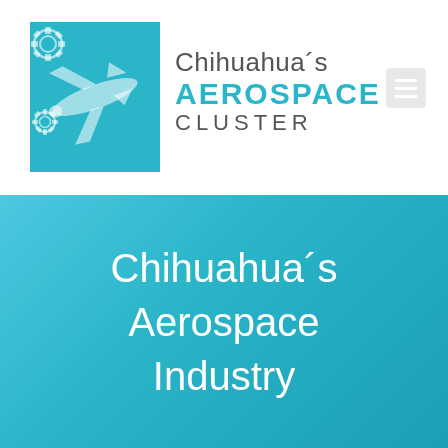[Figure (logo): Chihuahua's Aerospace Cluster logo with teal background, airplane silhouette and gear icons on the left, and text 'Chihuahua's AEROSPACE CLUSTER' on the right]
Chihuahua´s Aerospace Industry